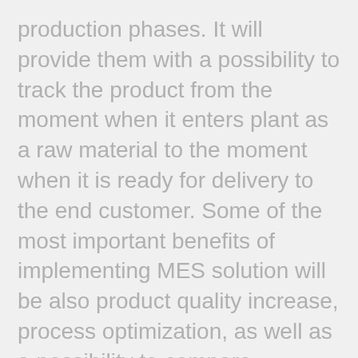production phases. It will provide them with a possibility to track the product from the moment when it enters plant as a raw material to the moment when it is ready for delivery to the end customer. Some of the most important benefits of implementing MES solution will be also product quality increase, process optimization, as well as a possibility to compare employees' performance and control machine efficiency.
'We expect a quick and efficient implementation of MES solution by 8Sigma that will bring Industry 4.0 to automotive part of our complex and support us in further digitalization activities that we have been implementing from the very beginning of our plant. It will help us to increase quality control and also to strengthen our leading position on the market. S...